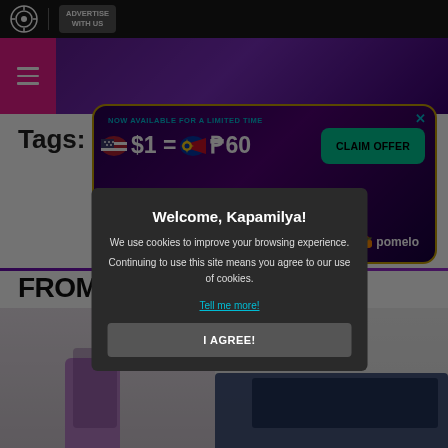ADVERTISE WITH US
[Figure (screenshot): Website navigation bar with purple gradient header and pink hamburger menu button]
Tags:
[Figure (infographic): Advertisement banner: NOW AVAILABLE FOR A LIMITED TIME $1 = ₱60 CLAIM OFFER. Applies to first $500 spent in 45 days for new customers. pomelo]
FROM TH
[Figure (photo): Article thumbnail image showing a purple smoothie and folded denim jeans on white background]
Welcome, Kapamilya!
We use cookies to improve your browsing experience.
Continuing to use this site means you agree to our use of cookies.
Tell me more!
I AGREE!